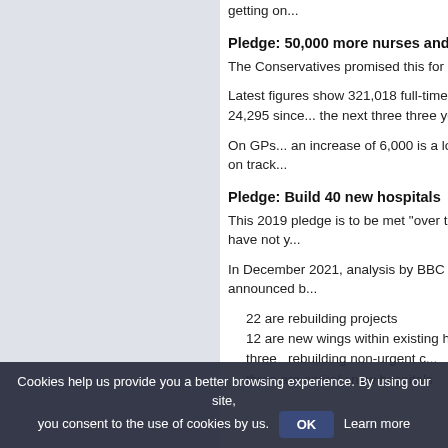getting on...
Pledge: 50,000 more nurses and 6,000 more GPs
The Conservatives promised this for England.
Latest figures show 321,018 full-time equivalent nurses in February 2022. That is up 24,295 since... the next three three years.
On GPs... an increase of 6,000 is a long way off. Health Secretary admitted: "I do not think we are on track"
Pledge: Build 40 new hospitals
This 2019 pledge is to be met "over the..." been added to this target but have not y...
In December 2021, analysis by BBC Re... of the 40 hospital projects announced b...
22 are rebuilding projects
12 are new wings within existing hospitals
three rebuilding non-urgent care...
three are entirely new hospitals
Cookies help us provide you a better browsing experience. By using our site, you consent to the use of cookies by us.